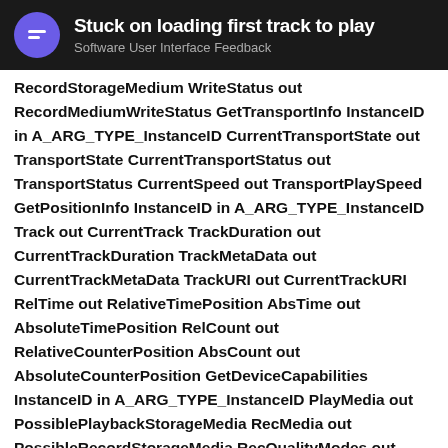Stuck on loading first track to play
Software User Interface Feedback
RecordStorageMedium WriteStatus out RecordMediumWriteStatus GetTransportInfo InstanceID in A_ARG_TYPE_InstanceID CurrentTransportState out TransportState CurrentTransportStatus out TransportStatus CurrentSpeed out TransportPlaySpeed GetPositionInfo InstanceID in A_ARG_TYPE_InstanceID Track out CurrentTrack TrackDuration out CurrentTrackDuration TrackMetaData out CurrentTrackMetaData TrackURI out CurrentTrackURI RelTime out RelativeTimePosition AbsTime out AbsoluteTimePosition RelCount out RelativeCounterPosition AbsCount out AbsoluteCounterPosition GetDeviceCapabilities InstanceID in A_ARG_TYPE_InstanceID PlayMedia out PossiblePlaybackStorageMedia RecMedia out PossibleRecordStorageMedia RecQualityModes out PossibleRecordQualityModes GetTransportSettings InstanceID in A_ARG_TYPE_InstanceID PlayMode out CurrentPlayMode RecQualityMode out CurrentRecordQualityMode Stop Instanc
1 / 3